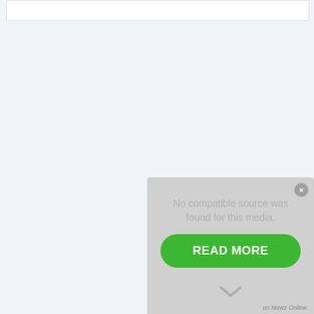[Figure (screenshot): White card/bar element at top of page on light blue background]
[Figure (screenshot): Media player overlay with gray background showing 'No compatible source was found for this media.' message, a green READ MORE button, a close button, a chevron down arrow, and 'on Newz Online' text at bottom right]